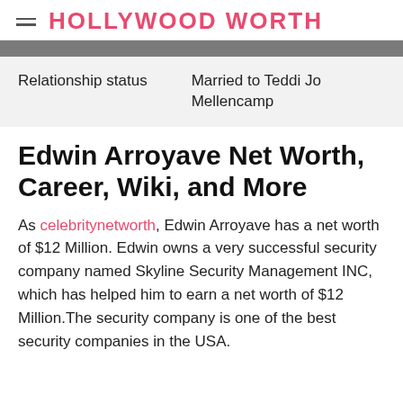HOLLYWOOD WORTH
| Relationship status | Married to Teddi Jo Mellencamp |
| --- | --- |
Edwin Arroyave Net Worth, Career, Wiki, and More
As celebritynetworth, Edwin Arroyave has a net worth of $12 Million. Edwin owns a very successful security company named Skyline Security Management INC, which has helped him to earn a net worth of $12 Million.The security company is one of the best security companies in the USA.